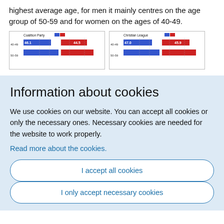highest average age, for men it mainly centres on the age group of 50-59 and for women on the ages of 40-49.
[Figure (bar-chart): Two small grouped bar charts side by side. Left chart titled 'Coalition Party' with values 46.1 and 44.5, age groups 40-49 and 50-59. Right chart titled 'Christian League' with values 47.0 and 45.9, age groups 40-49 and 50-59. Blue and red bars.]
Information about cookies
We use cookies on our website. You can accept all cookies or only the necessary ones. Necessary cookies are needed for the website to work properly.
Read more about the cookies.
I accept all cookies
I only accept necessary cookies